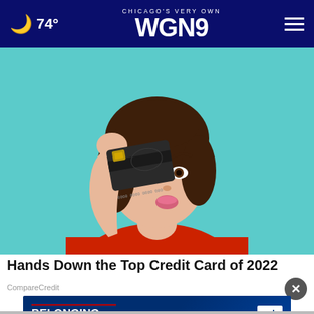74° CHICAGO'S VERY OWN WGN9
[Figure (photo): Woman in red sweater holding a dark credit card up to cover one eye, posing against a teal/turquoise background]
Hands Down the Top Credit Card of 2022
CompareCredit
[Figure (infographic): Ad Council banner ad: 'BELONGING BEGINS WITH US' on a dark blue background with Ad Council logo badge]